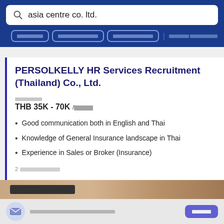[Figure (screenshot): Search bar with magnifying glass icon showing 'asia centre co. ltd.' query on blue background]
[Figure (screenshot): Navigation tab bar with three outlined tab buttons and one text link in Thai on blue background]
PERSOLKELLY HR Services Recruitment (Thailand) Co., Ltd.
Thai label text (salary label)
THB 35K - 70K / Thai unit text
Good communication both in English and Thai
Knowledge of General Insurance landscape in Thai
Experience in Sales or Broker (Insurance)
2 Thai date/time text
[Figure (photo): Partial photo of wooden surface with dark object]
Thai notification subscription text and button